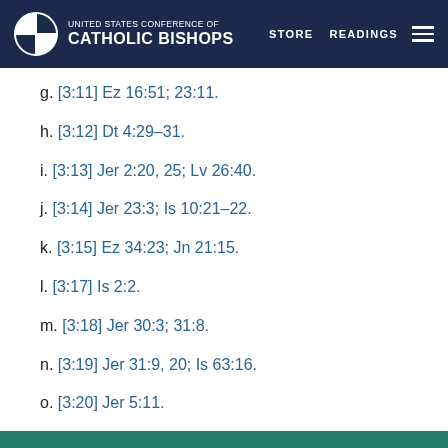UNITED STATES CONFERENCE OF CATHOLIC BISHOPS | STORE | READINGS
g. [3:11] Ez 16:51; 23:11.
h. [3:12] Dt 4:29–31.
i. [3:13] Jer 2:20, 25; Lv 26:40.
j. [3:14] Jer 23:3; Is 10:21–22.
k. [3:15] Ez 34:23; Jn 21:15.
l. [3:17] Is 2:2.
m. [3:18] Jer 30:3; 31:8.
n. [3:19] Jer 31:9, 20; Is 63:16.
o. [3:20] Jer 5:11.
This website uses cookies. By continuing you are agreeing to our Privacy Policy
CLOSE  X